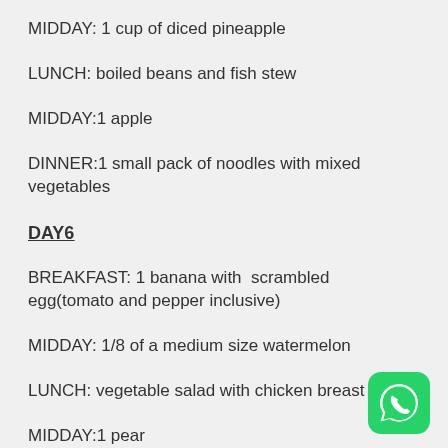MIDDAY: 1 cup of diced pineapple
LUNCH: boiled beans and fish stew
MIDDAY:1 apple
DINNER:1 small pack of noodles with mixed vegetables
DAY6
BREAKFAST: 1 banana with  scrambled egg(tomato and pepper inclusive)
MIDDAY: 1/8 of a medium size watermelon
LUNCH: vegetable salad with chicken breast
MIDDAY:1 pear
[Figure (logo): WhatsApp logo — green rounded square with white phone/chat icon]